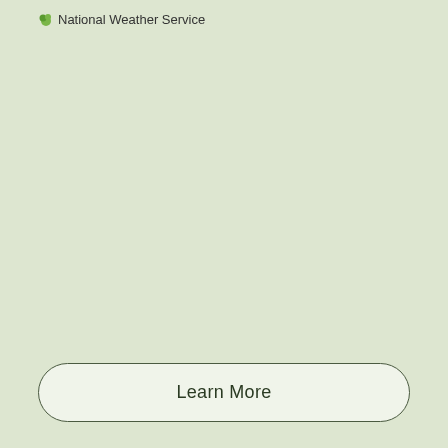National Weather Service
Learn More